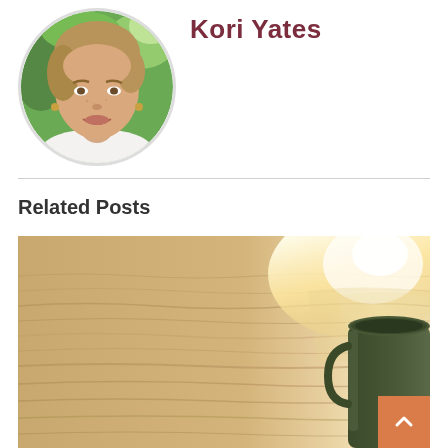[Figure (photo): Circular headshot portrait of Kori Yates, a smiling woman with short blonde-brown hair, wearing a white top and hoop earrings, with a green outdoor background.]
Kori Yates
[Figure (photo): Warm golden-toned photo showing a calm water surface with sunlight reflection and a dark green mug/cup on the right side, suggesting a morning or meditation scene.]
Related Posts